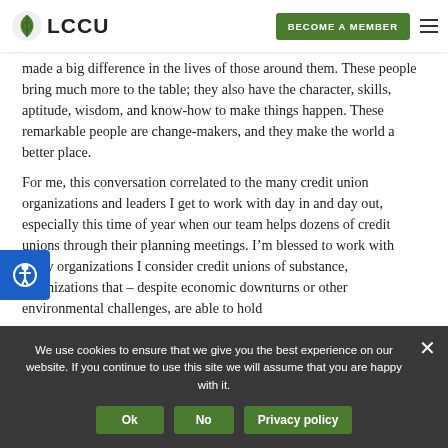LCCU | BECOME A MEMBER
made a big difference in the lives of those around them. These people bring much more to the table; they also have the character, skills, aptitude, wisdom, and know-how to make things happen. These remarkable people are change-makers, and they make the world a better place.
For me, this conversation correlated to the many credit union organizations and leaders I get to work with day in and day out, especially this time of year when our team helps dozens of credit unions through their planning meetings. I’m blessed to work with many organizations I consider credit unions of substance, organizations that – despite economic downturns or other environmental challenges, are able to hold
We use cookies to ensure that we give you the best experience on our website. If you continue to use this site we will assume that you are happy with it.